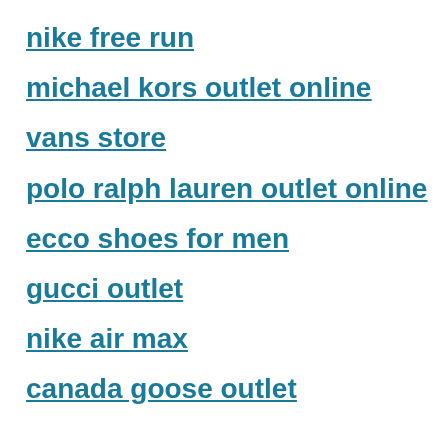nike free run
michael kors outlet online
vans store
polo ralph lauren outlet online
ecco shoes for men
gucci outlet
nike air max
canada goose outlet